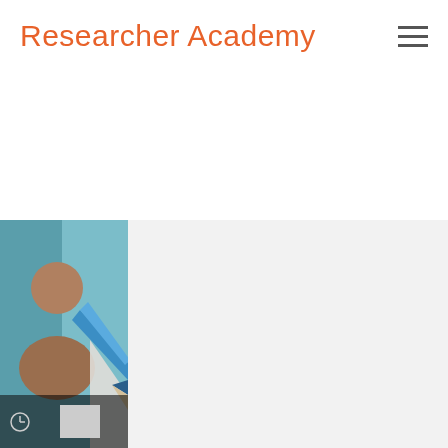Researcher Academy
[Figure (illustration): Researcher Academy website screenshot showing orange brand title, hamburger menu icon, a large white content area, and at the bottom a card with a thumbnail illustration featuring a person silhouette and blue pencil motif on a teal background with a clock icon bar, beside a light grey content panel.]